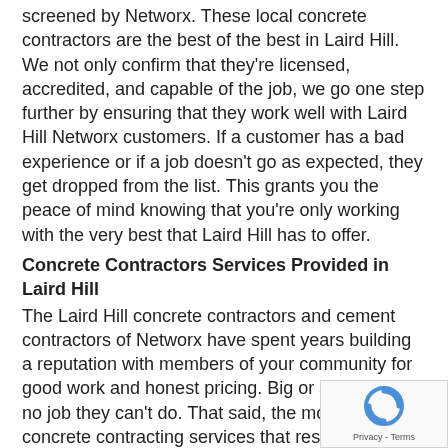screened by Networx. These local concrete contractors are the best of the best in Laird Hill. We not only confirm that they're licensed, accredited, and capable of the job, we go one step further by ensuring that they work well with Laird Hill Networx customers. If a customer has a bad experience or if a job doesn't go as expected, they get dropped from the list. This grants you the peace of mind knowing that you're only working with the very best that Laird Hill has to offer.
Concrete Contractors Services Provided in Laird Hill
The Laird Hill concrete contractors and cement contractors of Networx have spent years building a reputation with members of your community for good work and honest pricing. Big or small, there's no job they can't do. That said, the most common concrete contracting services that residents of your area need a hand with include:
Concrete driveway, slabs, floors
Concrete staining - stamped, overlay, coloring, coating
Asphalt paving
Interlocking pavers
Concrete foundation
[Figure (logo): reCAPTCHA logo with refresh icon and Privacy - Terms text]